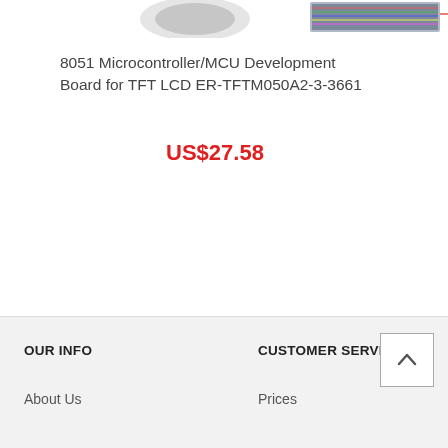[Figure (photo): Partial view of 8051 microcontroller/MCU development board product images at top of page, cropped]
8051 Microcontroller/MCU Development Board for TFT LCD ER-TFTM050A2-3-3661
US$27.58
OUR INFO | CUSTOMER SERVICE | About Us | Prices